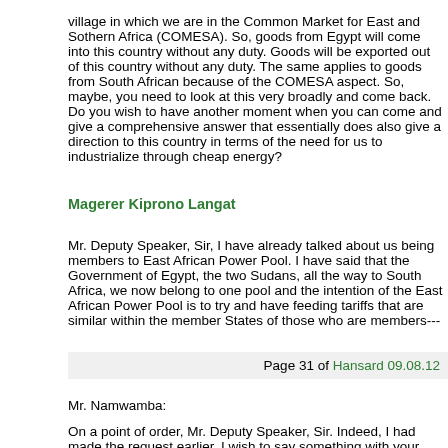village in which we are in the Common Market for East and Sothern Africa (COMESA). So, goods from Egypt will come into this country without any duty. Goods will be exported out of this country without any duty. The same applies to goods from South African because of the COMESA aspect. So, maybe, you need to look at this very broadly and come back. Do you wish to have another moment when you can come and give a comprehensive answer that essentially does also give a direction to this country in terms of the need for us to industrialize through cheap energy?
Magerer Kiprono Langat
Mr. Deputy Speaker, Sir, I have already talked about us being members to East African Power Pool. I have said that the Government of Egypt, the two Sudans, all the way to South Africa, we now belong to one pool and the intention of the East African Power Pool is to try and have feeding tariffs that are similar within the member States of those who are members---
Page 31 of Hansard 09.08.12
Mr. Namwamba:
On a point of order, Mr. Deputy Speaker, Sir. Indeed, I had made the request earlier. I wish to say something with your indulgence.